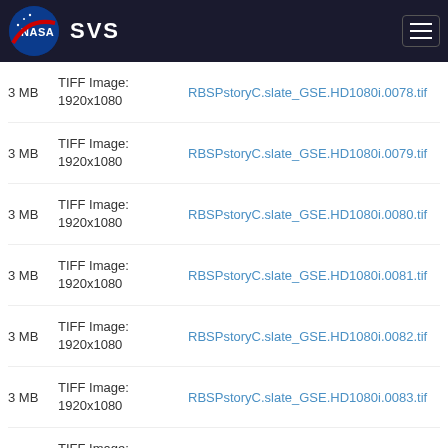[Figure (logo): NASA SVS website header with NASA meatball logo and SVS text on dark background with hamburger menu button]
3 MB | TIFF Image: 1920x1080 | RBSPstoryC.slate_GSE.HD1080i.0078.tif
3 MB | TIFF Image: 1920x1080 | RBSPstoryC.slate_GSE.HD1080i.0079.tif
3 MB | TIFF Image: 1920x1080 | RBSPstoryC.slate_GSE.HD1080i.0080.tif
3 MB | TIFF Image: 1920x1080 | RBSPstoryC.slate_GSE.HD1080i.0081.tif
3 MB | TIFF Image: 1920x1080 | RBSPstoryC.slate_GSE.HD1080i.0082.tif
3 MB | TIFF Image: 1920x1080 | RBSPstoryC.slate_GSE.HD1080i.0083.tif
3 MB | TIFF Image: 1920x1080 | RBSPstoryC.slate_GSE.HD1080i.0084.tif
3 MB | TIFF Image: 1920x1080 | RBSPstoryC.slate_GSE.HD1080i.0085.tif
3 MB | TIFF Image: 1920x1080 | RBSPstoryC.slate_GSE.HD1080i.0086.tif
3 MB | TIFF Image: 1920x1080 | RBSPstoryC.slate_GSE.HD1080i.0087.tif